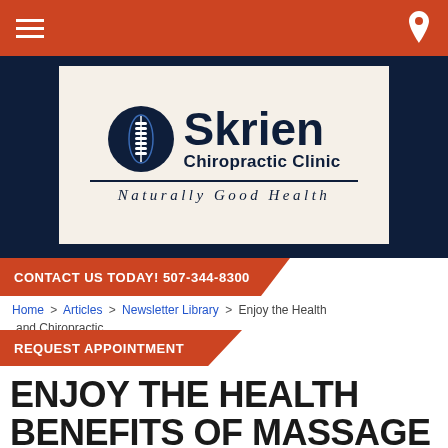[Figure (logo): Skrien Chiropractic Clinic - Naturally Good Health logo with spine icon in navy circle]
CONTACT US TODAY! 507-344-8300
Home > Articles > Newsletter Library > Enjoy the Health and Chiropractic
REQUEST APPOINTMENT
ENJOY THE HEALTH BENEFITS OF MASSAGE THERAPY AND CHIROPRACTIC